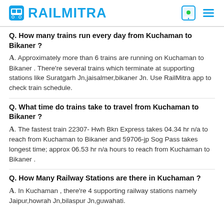RAILMITRA
Q. How many trains run every day from Kuchaman to Bikaner ?
A. Approximately more than 6 trains are running on Kuchaman to Bikaner . There're several trains which terminate at supporting stations like Suratgarh Jn,jaisalmer,bikaner Jn. Use RailMitra app to check train schedule.
Q. What time do trains take to travel from Kuchaman to Bikaner ?
A. The fastest train 22307- Hwh Bkn Express takes 04.34 hr n/a to reach from Kuchaman to Bikaner and 59706-jp Sog Pass takes longest time; approx 06.53 hr n/a hours to reach from Kuchaman to Bikaner .
Q. How Many Railway Stations are there in Kuchaman ?
A. In Kuchaman , there're 4 supporting railway stations namely Jaipur,howrah Jn,bilaspur Jn,guwahati.